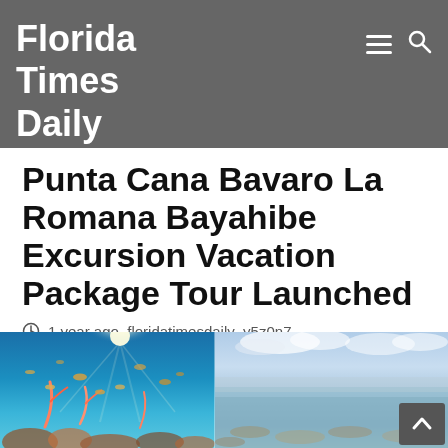Florida Times Daily
Punta Cana Bavaro La Romana Bayahibe Excursion Vacation Package Tour Launched
1 year ago  floridatimesdaily_y5z0n7
[Figure (photo): Two-panel composite image: left panel shows an underwater coral reef scene with tropical fish and blue water with sunlight streaming down; right panel shows a shallow tropical ocean scene with cloudy sky and coral visible through clear shallow water.]